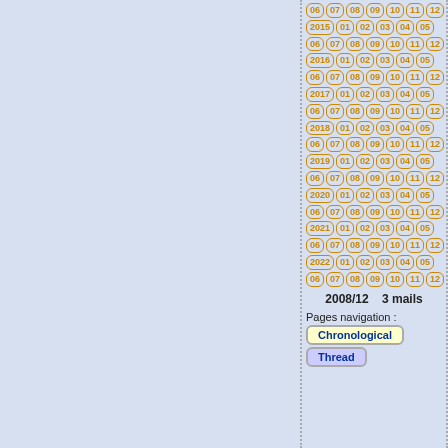[Figure (other): Left panel with light blue background, blank content area]
06 07 08 09 10 11 12
2015 01 02 03 04 05
06 07 08 09 10 11 12
2016 01 02 03 04 05
06 07 08 09 10 11 12
2017 01 02 03 04 05
06 07 08 09 10 11 12
2018 01 02 03 04 05
06 07 08 09 10 11 12
2019 01 02 03 04 05
06 07 08 09 10 11 12
2020 01 02 03 04 05
06 07 08 09 10 11 12
2021 01 02 03 04 05
06 07 08 09 10 11 12
2022 01 02 03 04 05
06 07 08 09 10 11 12
2008/12    3 mails
Pages navigation :
Chronological
Thread